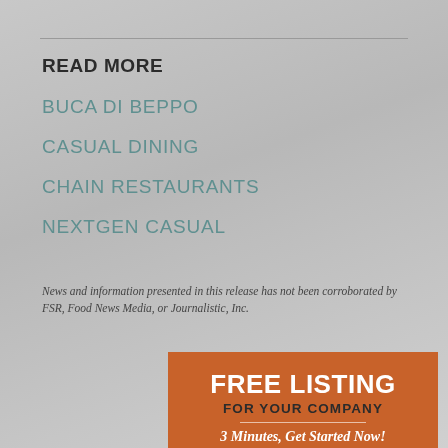READ MORE
BUCA DI BEPPO
CASUAL DINING
CHAIN RESTAURANTS
NEXTGEN CASUAL
News and information presented in this release has not been corroborated by FSR, Food News Media, or Journalistic, Inc.
[Figure (infographic): Orange advertisement box with 'FREE LISTING FOR YOUR COMPANY' headline, '3 Minutes, Get Started Now!' subtext, and FSR Resource Guide logo at the bottom.]